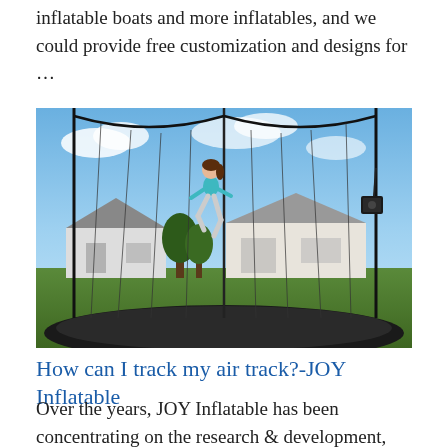inflatable boats and more inflatables, and we could provide free customization and designs for …
[Figure (photo): A girl jumping on a trampoline outdoors with a safety net enclosure, suburban houses and blue sky in the background, with a camera/device mounted on a pole inside the net.]
How can I track my air track?-JOY Inflatable
Over the years, JOY Inflatable has been concentrating on the research & development, design, and production of inflatable advertising. JOY